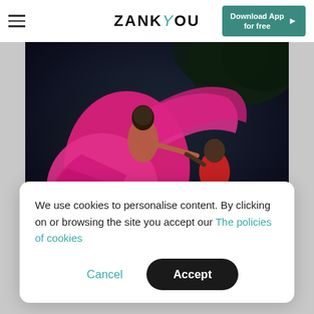ZANK YOU — Download App for free
[Figure (photo): A couple in a dramatic dark scene; the woman wears a flowing pink/magenta gown and the man kneels before her in a red shirt and white pants, with a dark blue/green background.]
We use cookies to personalise content. By clicking on or browsing the site you accept our The policies of cookies